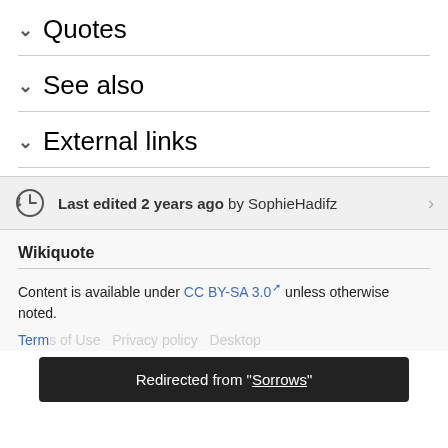∨ Quotes
∨ See also
∨ External links
Last edited 2 years ago by SophieHadifz
Wikiquote
Content is available under CC BY-SA 3.0 unless otherwise noted.
Terms of Use  Privacy policy  Desktop
Redirected from "Sorrows"